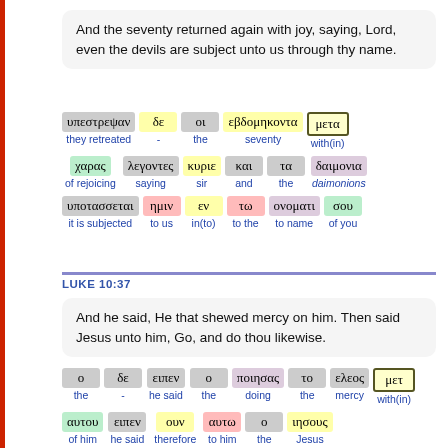And the seventy returned again with joy, saying, Lord, even the devils are subject unto us through thy name.
[Figure (other): Interlinear Greek-English word analysis for Luke verse about seventy returning. Row 1: υπεστρεψαν (they retreated), δε (-), οι (the), εβδομηκοντα (seventy), μετα (with(in)). Row 2: χαρας (of rejoicing), λεγοντες (saying), κυριε (sir), και (and), τα (the), δαιμονια (daimonions). Row 3: υποτασσεται (it is subjected), ημιν (to us), εν (in(to)), τω (to the), ονοματι (to name), σου (of you).]
LUKE 10:37
And he said, He that shewed mercy on him. Then said Jesus unto him, Go, and do thou likewise.
[Figure (other): Interlinear Greek-English word analysis for Luke 10:37. Row 1: ο (the), δε (-), ειπεν (he said), ο (the), ποιησας (doing), το (the), ελεος (mercy), μετ (with(in)). Row 2: αυτου (of him), ειπεν (he said), ουν (therefore), αυτω (to him), ο (the), ιησους (Jesus).]